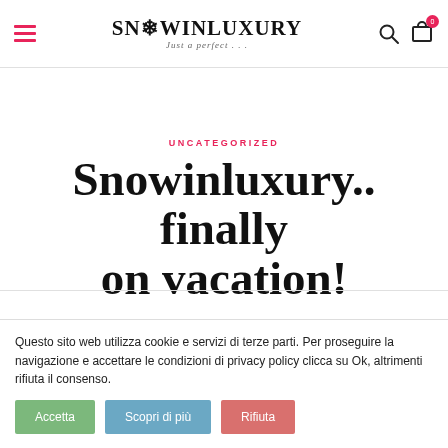SNOWINLUXURY — Just a perfect . . .
UNCATEGORIZED
Snowinluxury.. finally on vacation!
Questo sito web utilizza cookie e servizi di terze parti. Per proseguire la navigazione e accettare le condizioni di privacy policy clicca su Ok, altrimenti rifiuta il consenso.
Accetta
Scopri di più
Rifiuta